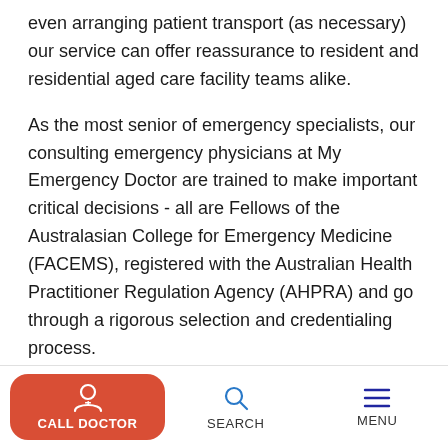even arranging patient transport (as necessary) our service can offer reassurance to resident and residential aged care facility teams alike.
As the most senior of emergency specialists, our consulting emergency physicians at My Emergency Doctor are trained to make important critical decisions - all are Fellows of the Australasian College for Emergency Medicine (FACEMS), registered with the Australian Health Practitioner Regulation Agency (AHPRA) and go through a rigorous selection and credentialing process.
Additionally, they provide consultations under a robust clinical governance framework, including monthly case
[Figure (screenshot): Mobile app bottom navigation bar with 'CALL DOCTOR' button (red rounded rectangle with doctor icon), 'SEARCH' (magnifying glass icon), and 'MENU' (hamburger icon)]